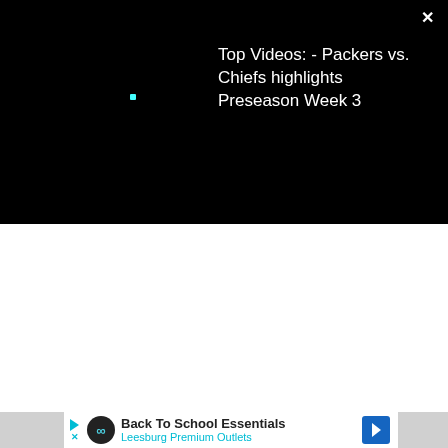[Figure (screenshot): Black video player banner showing a small cyan dot and white text reading 'Top Videos: - Packers vs. Chiefs highlights Preseason Week 3' with a white close X button in the top right corner]
Top Videos: - Packers vs. Chiefs highlights Preseason Week 3
[Figure (screenshot): Advertisement bar at the bottom showing Back To School Essentials for Leesburg Premium Outlets with a navigation icon, play button, close button, infinity logo circle, and a blue diamond navigation arrow icon]